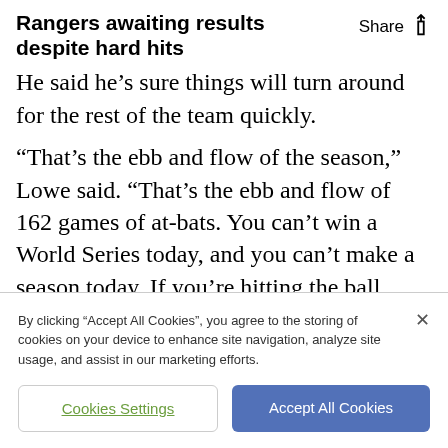Rangers awaiting results despite hard hits
He said he's sure things will turn around for the rest of the team quickly.
“That’s the ebb and flow of the season,” Lowe said. “That’s the ebb and flow of 162 games of at-bats. You can’t win a World Series today, and you can’t make a season today. If you’re hitting the ball hard, hitting it over 100 mph, you’re doing your part. And after that,
By clicking “Accept All Cookies”, you agree to the storing of cookies on your device to enhance site navigation, analyze site usage, and assist in our marketing efforts.